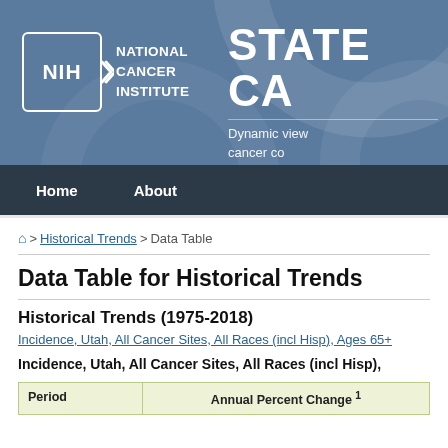NIH National Cancer Institute — STATE CA — Dynamic view of cancer co...
Home | About
🏠 > Historical Trends > Data Table
Data Table for Historical Trends
Historical Trends (1975-2018)
Incidence, Utah, All Cancer Sites, All Races (incl Hisp), Ages 65+
Incidence, Utah, All Cancer Sites, All Races (incl Hisp),
| Period | Annual Percent Change 1 |
| --- | --- |